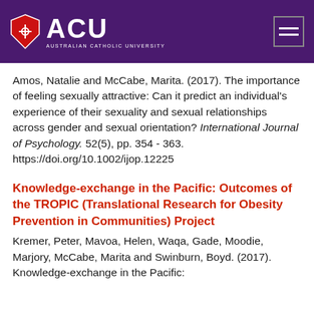[Figure (logo): Australian Catholic University (ACU) logo with shield and text on purple header bar]
Amos, Natalie and McCabe, Marita. (2017). The importance of feeling sexually attractive: Can it predict an individual's experience of their sexuality and sexual relationships across gender and sexual orientation? International Journal of Psychology. 52(5), pp. 354 - 363. https://doi.org/10.1002/ijop.12225
Knowledge-exchange in the Pacific: Outcomes of the TROPIC (Translational Research for Obesity Prevention in Communities) Project
Kremer, Peter, Mavoa, Helen, Waqa, Gade, Moodie, Marjory, McCabe, Marita and Swinburn, Boyd. (2017). Knowledge-exchange in the Pacific: